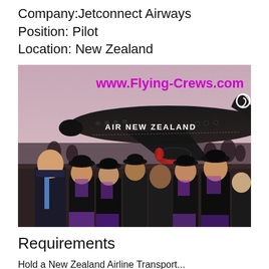Company:Jetconnect Airways
Position: Pilot
Location: New Zealand
[Figure (photo): Air New Zealand aircraft (black livery) on tarmac with Air New Zealand cabin crew and staff posing in front of it. The crew wear black uniforms with purple accents. Website URL www.Flying-Crews.com shown in magenta/purple text overlay at top of image.]
Requirements
Hold a New Zealand Airline Transport...